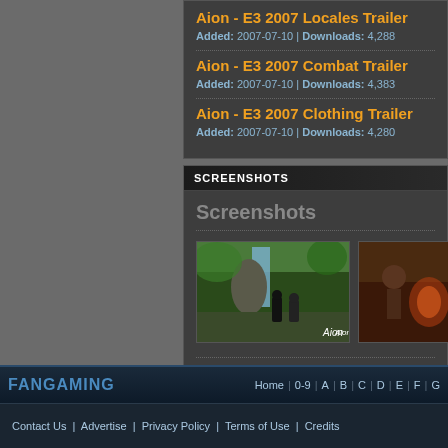Aion - E3 2007 Locales Trailer
Added: 2007-07-10 | Downloads: 4,288
Aion - E3 2007 Combat Trailer
Added: 2007-07-10 | Downloads: 4,383
Aion - E3 2007 Clothing Trailer
Added: 2007-07-10 | Downloads: 4,280
SCREENSHOTS
Screenshots
[Figure (screenshot): Aion game screenshot showing characters in a fantasy outdoor environment with waterfall]
[Figure (screenshot): Aion game screenshot (partially visible) showing combat scene]
FANGAMING | Home | 0-9 | A | B | C | D | E | F | G
Contact Us | Advertise | Privacy Policy | Terms of Use | Credits